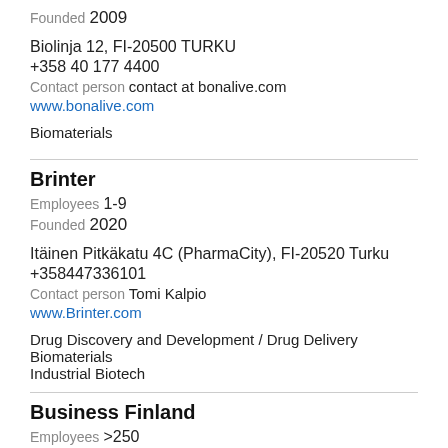Founded 2009
Biolinja 12, FI-20500 TURKU
+358 40 177 4400
Contact person contact at bonalive.com
www.bonalive.com
Biomaterials
Brinter
Employees 1-9
Founded 2020
Itäinen Pitkäkatu 4C (PharmaCity), FI-20520 Turku
+358447336101
Contact person Tomi Kalpio
www.Brinter.com
Drug Discovery and Development / Drug Delivery
Biomaterials
Industrial Biotech
Business Finland
Employees >250